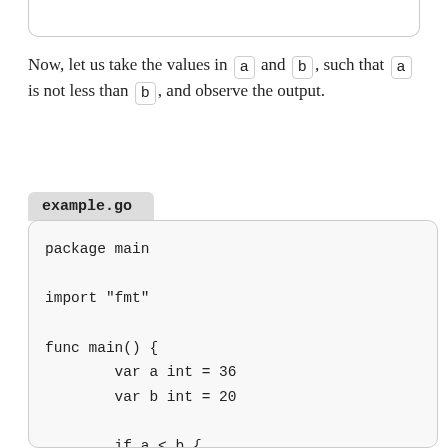Now, let us take the values in `a` and `b`, such that `a` is not less than `b`, and observe the output.
example.go
package main

import "fmt"

func main() {
        var a int = 36
        var b int = 20

        if a < b {
                fmt.Println("a is less tha
        } else {
                fmt.Println("a is not les